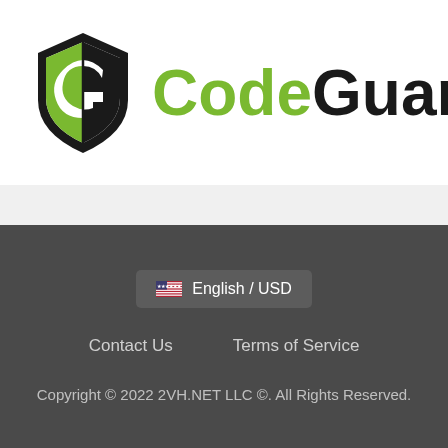[Figure (logo): CodeGuard logo: shield icon with stylized G on left, text 'Code' in green and 'Guard' in dark/black on right]
English / USD
Contact Us    Terms of Service
Copyright © 2022 2VH.NET LLC ©. All Rights Reserved.